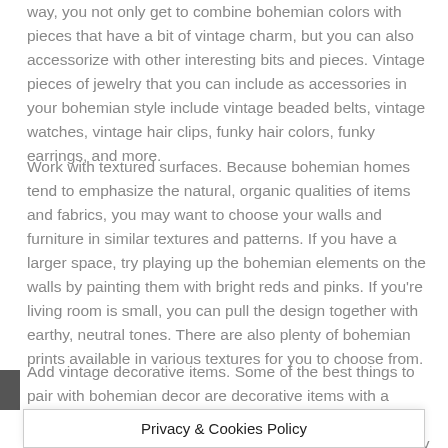way, you not only get to combine bohemian colors with pieces that have a bit of vintage charm, but you can also accessorize with other interesting bits and pieces. Vintage pieces of jewelry that you can include as accessories in your bohemian style include vintage beaded belts, vintage watches, vintage hair clips, funky hair colors, funky earrings, and more.
Work with textured surfaces. Because bohemian homes tend to emphasize the natural, organic qualities of items and fabrics, you may want to choose your walls and furniture in similar textures and patterns. If you have a larger space, try playing up the bohemian elements on the walls by painting them with bright reds and pinks. If you're living room is small, you can pull the design together with earthy, neutral tones. There are also plenty of bohemian prints available in various textures for you to choose from.
Add vintage decorative items. Some of the best things to pair with bohemian decor are decorative items with a vintage flair – things like wrought iron candle holders, vintage paintings, or interesting textiles. You can find many bohemian decorative items online, which will give you not only an extensive s... m spending
Privacy & Cookies Policy